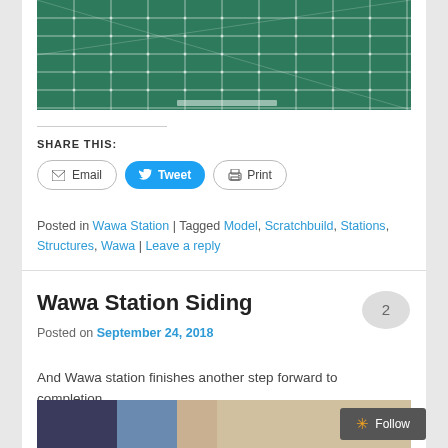[Figure (photo): Green cutting mat with grid lines and white markings, photo cropped at top]
SHARE THIS:
Email | Tweet | Print buttons
Posted in Wawa Station | Tagged Model, Scratchbuild, Stations, Structures, Wawa | Leave a reply
Wawa Station Siding
Posted on September 24, 2018
And Wawa station finishes another step forward to completion.
[Figure (photo): Partial photo visible at bottom of page]